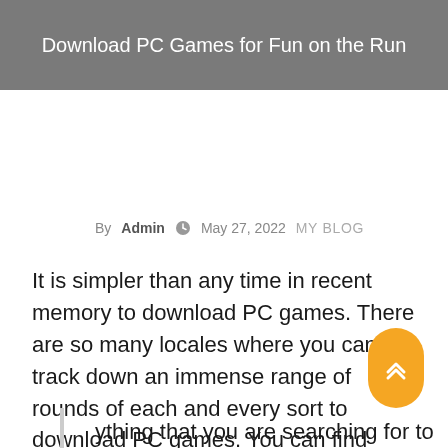Download PC Games for Fun on the Run
By  Admin   May 27, 2022   MY BLOG
It is simpler than any time in recent memory to download PC games. There are so many locales where you can track down an immense range of rounds of each and every sort to download PC games. You can find games, for example, war games, sports, technique, and dream as well as a wide scope of other game classes.
ything that you are searching for to download PC